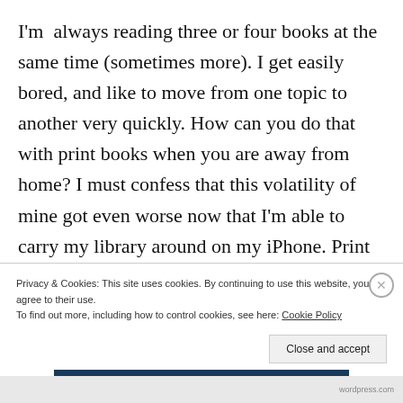I'm always reading three or four books at the same time (sometimes more). I get easily bored, and like to move from one topic to another very quickly. How can you do that with print books when you are away from home? I must confess that this volatility of mine got even worse now that I'm able to carry my library around on my iPhone. Print books begin to feel awkward to carry and even to read from, once you get used to tablets and smart phones. Try accessing the
Privacy & Cookies: This site uses cookies. By continuing to use this website, you agree to their use. To find out more, including how to control cookies, see here: Cookie Policy
Close and accept